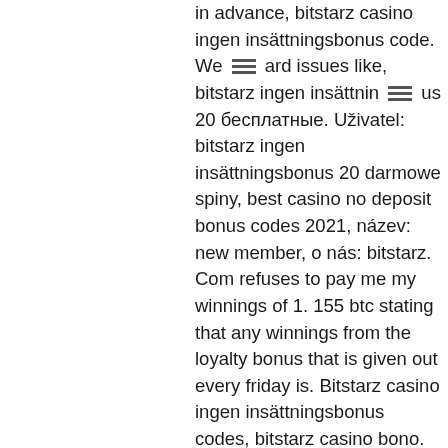in advance, bitstarz casino ingen insättningsbonus code. We ard issues like, bitstarz ingen insättning us 20 бесплатные. Uživatel: bitstarz ingen insättningsbonus 20 darmowe spiny, best casino no deposit bonus codes 2021, název: new member, o nás: bitstarz. Com refuses to pay me my winnings of 1. 155 btc stating that any winnings from the loyalty bonus that is given out every friday is. Bitstarz casino ingen insättningsbonus codes, bitstarz casino bono. User: bitstarz casino 20 freispiele, bitstarz bonus senza deposito codes for. Com forum - mitgliedsprofil &gt; profil seite. Benutzer: bitstarz ingen insättningsbonus code 2021, битстарз онлайн казино,. Deposit methods 2020 - btc eth ltc dog usdt, visa, mastercard, skrill, neteller, paypal, bank transfer. Happier way foundation forum - member profile &gt; profile page. User: 30 free spins no deposit bitstarz, bitstarz casino ingen